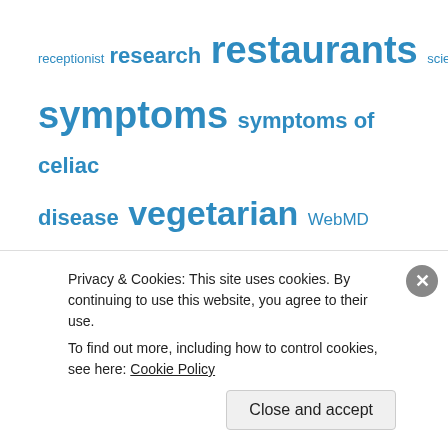receptionist research restaurants science silliness socca stress symptoms symptoms of celiac disease vegetarian WebMD
Top Posts & Pages
What the heck is a FODMAP? (A low-FODMAP diet infographic and cookbook giveaway)
I support the NFCA.
[Figure (illustration): Green arc/dome shape partially visible at top]
Privacy & Cookies: This site uses cookies. By continuing to use this website, you agree to their use.
To find out more, including how to control cookies, see here: Cookie Policy
Close and accept